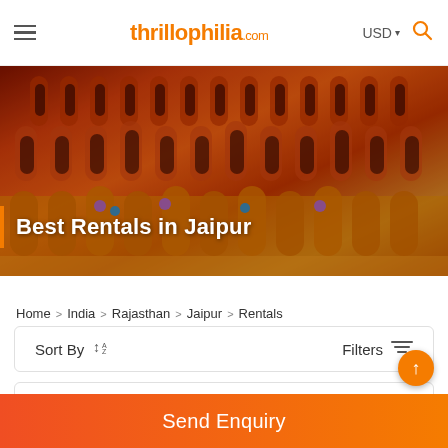thrillophilia.com — USD — Search
[Figure (photo): Hawa Mahal (Palace of Winds) in Jaipur illuminated in orange/red lights at night, showing ornate Rajput architecture with multiple tiers of arched windows and intricate facades]
Best Rentals in Jaipur
Home > India > Rajasthan > Jaipur > Rentals
Sort By  Filters
Send Enquiry